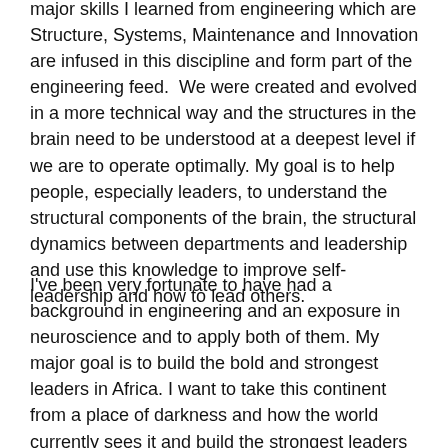major skills I learned from engineering which are Structure, Systems, Maintenance and Innovation are infused in this discipline and form part of the engineering feed.  We were created and evolved in a more technical way and the structures in the brain need to be understood at a deepest level if we are to operate optimally. My goal is to help people, especially leaders, to understand the structural components of the brain, the structural dynamics between departments and leadership and use this knowledge to improve self-leadership and how to lead others.
I've been very fortunate to have had a background in engineering and an exposure in neuroscience and to apply both of them. My major goal is to build the bold and strongest leaders in Africa. I want to take this continent from a place of darkness and how the world currently sees it and build the strongest leaders in all sectors – public and private. I truly believe that by applying this discipline of neuroscience and